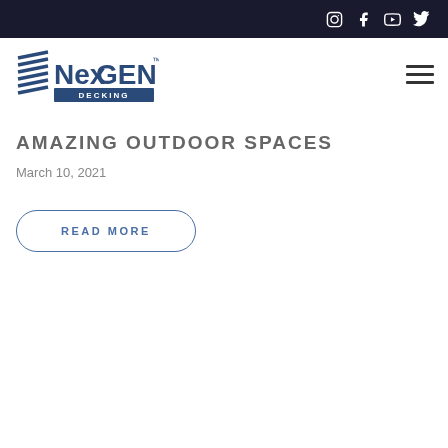Social media icons: Instagram, Facebook, YouTube, Twitter
[Figure (logo): NexGEN Decking logo with stylized horizontal lines icon and bold text]
AMAZING OUTDOOR SPACES
March 10, 2021
READ MORE